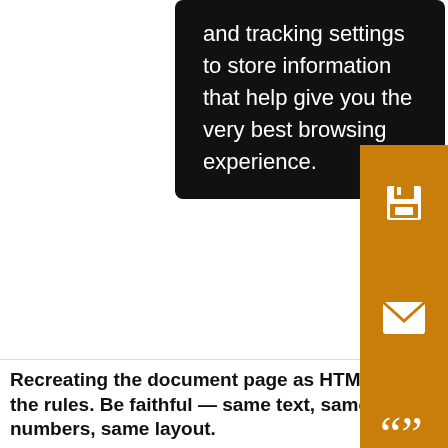and tracking settings to store information that help give you the very best browsing experience.
[Figure (screenshot): Orange sidebar with save, email, cite, alert, and share icon buttons on a dark orange background]
sup...
Cita...
fi...
P...
s...
Recreating the document...